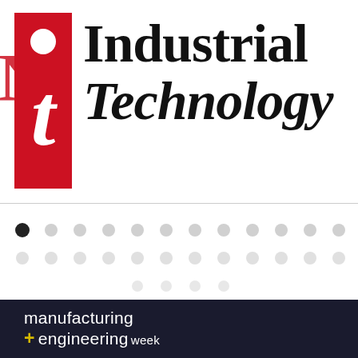[Figure (logo): Industrial Technology magazine logo with red 'i/t' rectangular icon and bold serif text 'Industrial Technology']
[Figure (illustration): Decorative dot pattern / pagination dots, with one black filled dot and many grey dots in a grid]
[Figure (logo): Manufacturing + Engineering Week logo in white text on dark navy background with yellow plus sign]